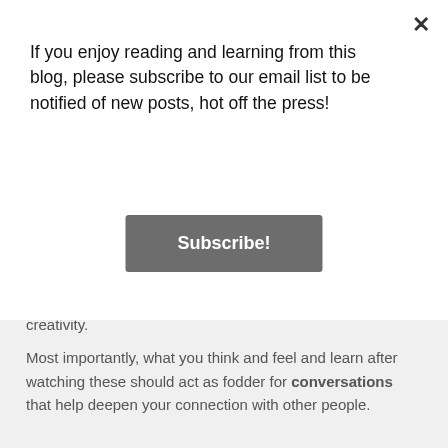If you enjoy reading and learning from this blog, please subscribe to our email list to be notified of new posts, hot off the press!
Subscribe!
creativity.
Most importantly, what you think and feel and learn after watching these should act as fodder for conversations that help deepen your connection with other people.
[Figure (illustration): Screenshot of a blog page showing a subscribe modal overlay on top of article content, with a Simpsons family image partially visible at the bottom. The modal has a close X button, subscription text, and a grey Subscribe button. Below the modal, article text discusses conversations deepening connections.]